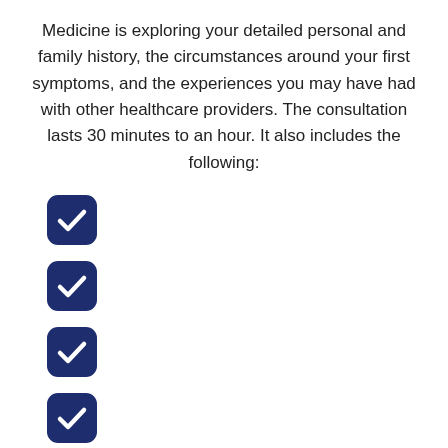Medicine is exploring your detailed personal and family history, the circumstances around your first symptoms, and the experiences you may have had with other healthcare providers. The consultation lasts 30 minutes to an hour. It also includes the following: